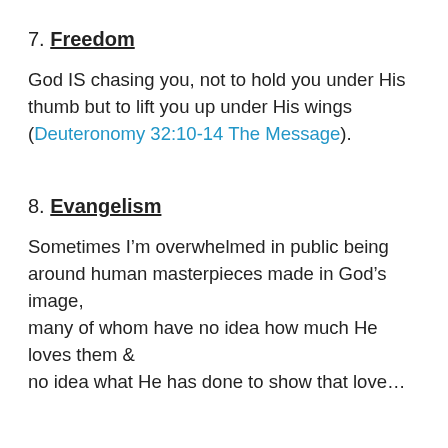7. Freedom
God IS chasing you, not to hold you under His thumb but to lift you up under His wings (Deuteronomy 32:10-14 The Message).
8. Evangelism
Sometimes I’m overwhelmed in public being around human masterpieces made in God’s image, many of whom have no idea how much He loves them & no idea what He has done to show that love…